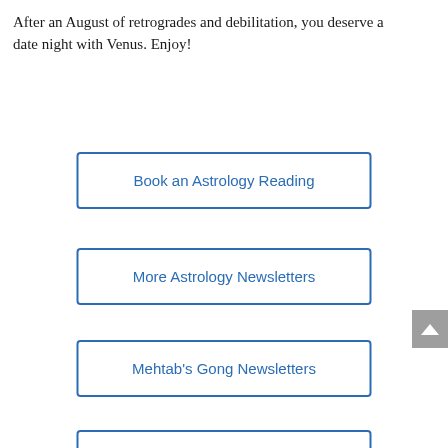After an August of retrogrades and debilitation, you deserve a date night with Venus. Enjoy!
Book an Astrology Reading
More Astrology Newsletters
Mehtab's Gong Newsletters
Mehtab's Kundalini Newsletters